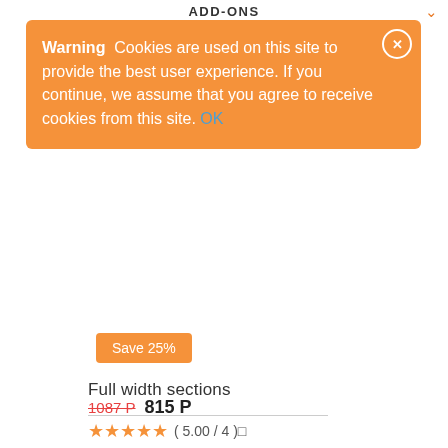ADD-ONS
Warning  Cookies are used on this site to provide the best user experience. If you continue, we assume that you agree to receive cookies from this site. OK
Save 25%
Full width sections
1087 P  815 P
( 5.00 / 4 )